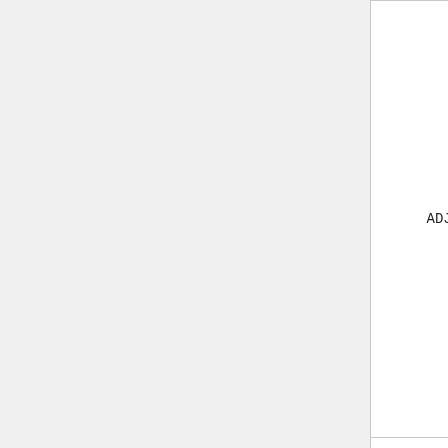| Name | Dimensions | Description |
| --- | --- | --- |
| ADJ_IFP_IMP_BETA_EFF | 2D + 2 | Implicit estimate of the adjoint-weighted effective delayed neutron fraction using the iterated fission probability method, total and group-w... |
|  |  | Implicit estimate of the adjoint-weighted delayed... |